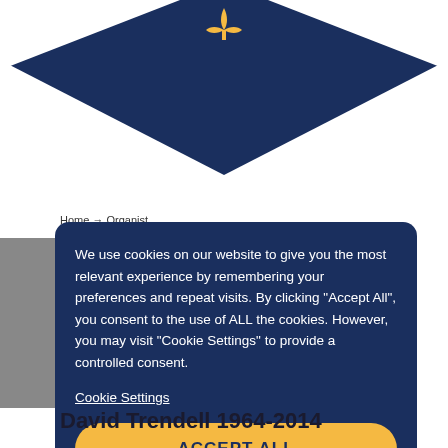[Figure (other): Navy blue decorative header with a fleur-de-lis style gold/yellow logo icon and chevron/envelope shaped navy panels]
Home → Organist
We use cookies on our website to give you the most relevant experience by remembering your preferences and repeat visits. By clicking "Accept All", you consent to the use of ALL the cookies. However, you may visit "Cookie Settings" to provide a controlled consent.
Cookie Settings
ACCEPT ALL
David Trendell 1964-2014